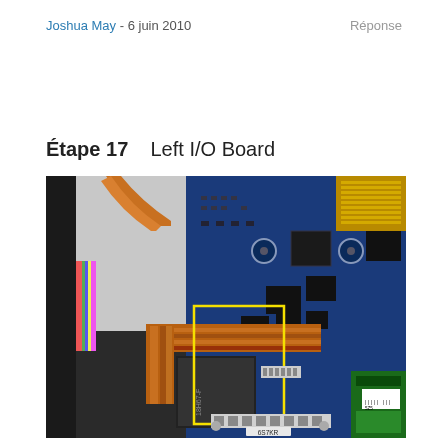Joshua May - 6 juin 2010   Réponse
Étape 17    Left I/O Board
[Figure (photo): Close-up photograph of a laptop motherboard interior showing the left I/O board area. An orange/copper flat flex cable connects components. A yellow rectangular highlight box is drawn around the I/O board connector area. The blue PCB with various chips, capacitors, and connectors is visible, along with a green memory card on the right. A label reading '6S7KR' is visible at the bottom center.]